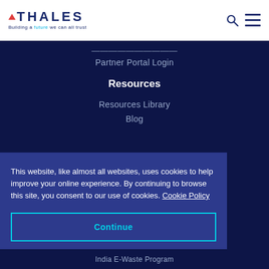[Figure (logo): Thales logo with red triangle and tagline 'Building a future we can all trust']
Partner Portal Login
Resources
Resources Library
Blog
This website, like almost all websites, uses cookies to help improve your online experience. By continuing to browse this site, you consent to our use of cookies. Cookie Policy
Continue
India E-Waste Program